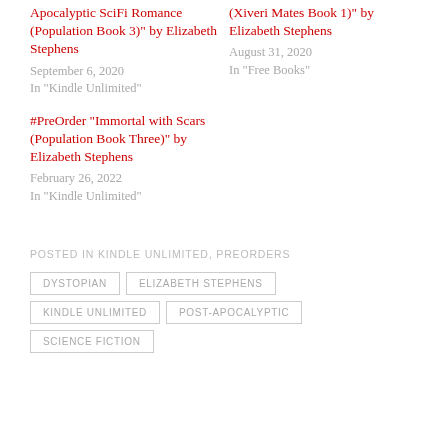Apocalyptic SciFi Romance (Population Book 3)" by Elizabeth Stephens
September 6, 2020
In "Kindle Unlimited"
(Xiveri Mates Book 1)" by Elizabeth Stephens
August 31, 2020
In "Free Books"
#PreOrder “Immortal with Scars (Population Book Three)" by Elizabeth Stephens
February 26, 2022
In "Kindle Unlimited"
POSTED IN KINDLE UNLIMITED, PREORDERS
DYSTOPIAN
ELIZABETH STEPHENS
KINDLE UNLIMITED
POST-APOCALYPTIC
SCIENCE FICTION